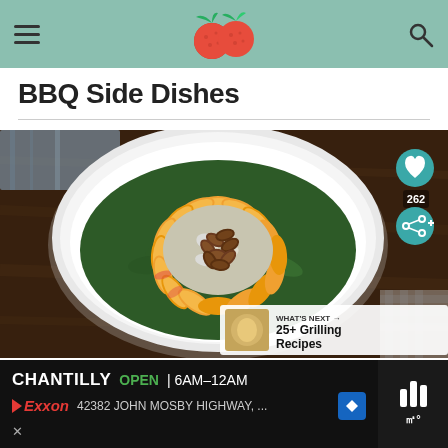BBQ Side Dishes
BBQ Side Dishes
[Figure (photo): Overhead view of a white bowl containing a salad with sliced peaches arranged in a circular pattern around a center of crumbled blue cheese and pecans, on top of spinach leaves. Dark wood background with gingham fabric visible.]
WHAT'S NEXT → 25+ Grilling Recipes
CHANTILLY OPEN | 6AM–12AM
42382 JOHN MOSBY HIGHWAY, ...